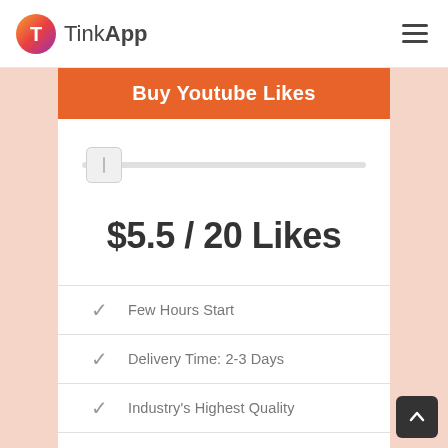TinkApp
Buy Youtube Likes
$5.5 / 20 Likes
Few Hours Start
Delivery Time: 2-3 Days
Industry's Highest Quality
Money Back Guarantee